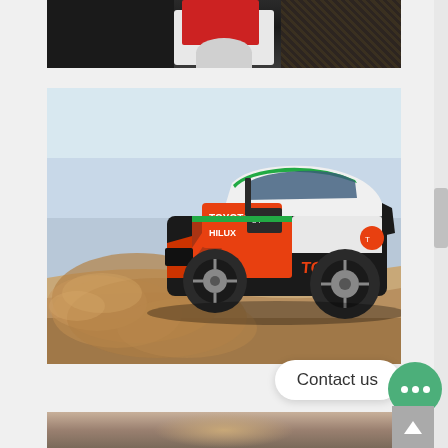[Figure (photo): Partial view of a racing driver in black leather suit with red and white gear/equipment visible at top of frame]
[Figure (photo): Toyota Hilux rally/racing truck with orange, black, and green livery kicking up sand dunes in desert environment. Toyota and Hilux branding visible on the vehicle.]
Contact us
[Figure (photo): Partial bottom view of sandy desert terrain with dust/sand in the air]